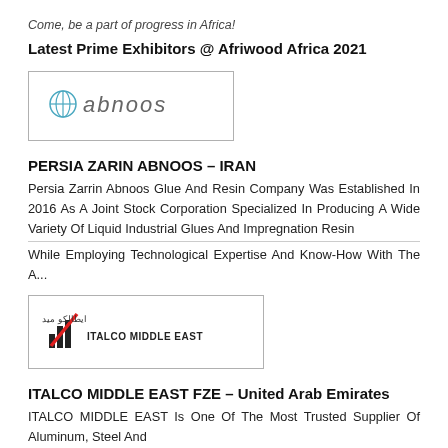Come, be a part of progress in Africa!
Latest Prime Exhibitors @ Afriwood Africa 2021
[Figure (logo): Abnoos company logo — stylized 'abnoos' text with a globe icon on the left, inside a rectangular border]
PERSIA ZARIN ABNOOS – IRAN
Persia Zarrin Abnoos Glue And Resin Company Was Established In 2016 As A Joint Stock Corporation Specialized In Producing A Wide Variety Of Liquid Industrial Glues And Impregnation Resin While Employing Technological Expertise And Know-How With The A...
[Figure (logo): Italco Middle East FZE logo — bar chart icon with a red diagonal slash, Arabic text, and 'ITALCO MIDDLE EAST' text, inside a rectangular border]
ITALCO MIDDLE EAST FZE – United Arab Emirates
ITALCO MIDDLE EAST Is One Of The Most Trusted Supplier Of Aluminum, Steel And Wood Working Machines & Air Compressors In The Entire Middle East And East Africa Our Company Provides...